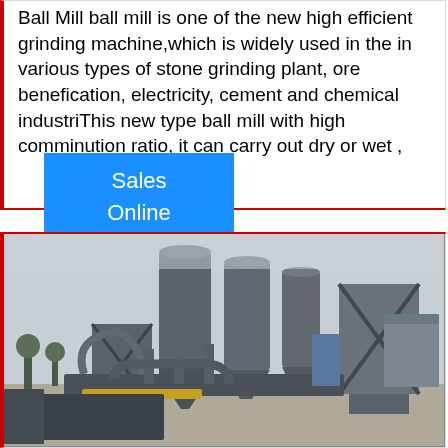Ball Mill ball mill is one of the new high efficient grinding machine,which is widely used in the in various types of stone grinding plant, ore benefication, electricity, cement and chemical industriThis new type ball mill with high comminution ratio, it can carry out dry or wet ,
Sales Online
[Figure (photo): Industrial ball mill plant facility showing large cylindrical silos/hoppers, metal framework structures, pipes and conveyor equipment, photographed outdoors at an industrial site.]